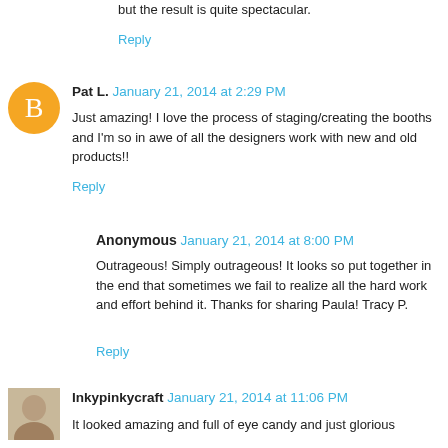but the result is quite spectacular.
Reply
Pat L. January 21, 2014 at 2:29 PM
Just amazing! I love the process of staging/creating the booths and I'm so in awe of all the designers work with new and old products!!
Reply
Anonymous January 21, 2014 at 8:00 PM
Outrageous! Simply outrageous! It looks so put together in the end that sometimes we fail to realize all the hard work and effort behind it. Thanks for sharing Paula! Tracy P.
Reply
Inkypinkycraft January 21, 2014 at 11:06 PM
It looked amazing and full of eye candy and just glorious